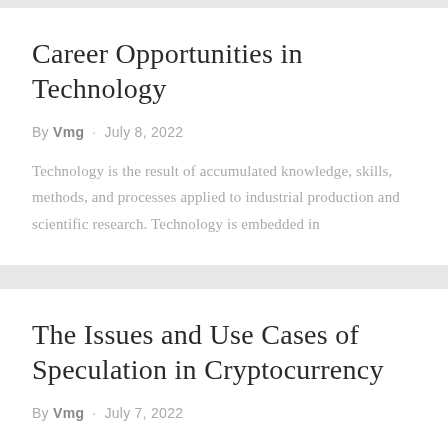Career Opportunities in Technology
By Vmg · July 8, 2022
Technology is the result of accumulated knowledge, skills, methods, and processes applied to industrial production and scientific research. Technology is embedded in
The Issues and Use Cases of Speculation in Cryptocurrency
By Vmg · July 7, 2022